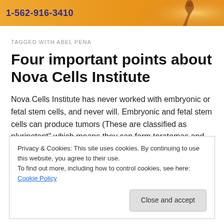1-562-916-3410
TAGGED WITH ABEL PENA
Four important points about Nova Cells Institute
Nova Cells Institute has never worked with embryonic or fetal stem cells, and never will. Embryonic and fetal stem cells can produce tumors (These are classified as pluripotent" which means they can form teratomas and
Privacy & Cookies: This site uses cookies. By continuing to use this website, you agree to their use.
To find out more, including how to control cookies, see here: Cookie Policy
Close and accept